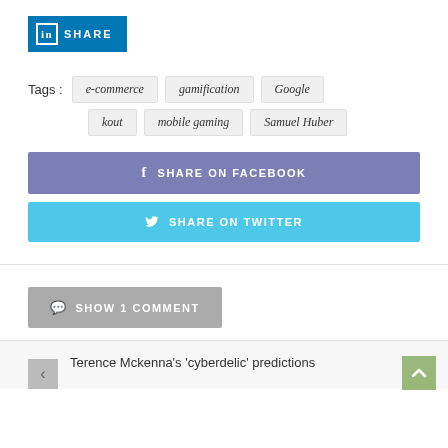[Figure (logo): LinkedIn Share button with 'in' icon and SHARE text on blue background]
Tags : e-commerce  gamification  Google  kout  mobile gaming  Samuel Huber
[Figure (infographic): SHARE ON FACEBOOK button (purple-blue) and SHARE ON TWITTER button (cyan)]
SHOW 1 COMMENT
Terence Mckenna's 'cyberdelic' predictions